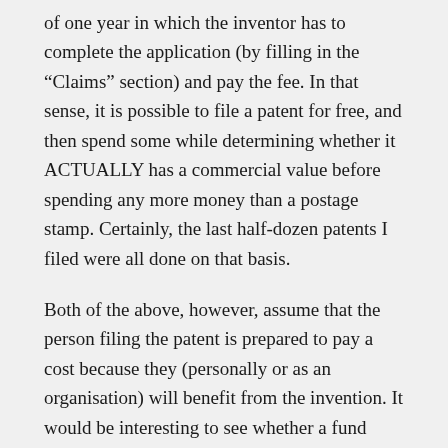of one year in which the inventor has to complete the application (by filling in the “Claims” section) and pay the fee. In that sense, it is possible to file a patent for free, and then spend some while determining whether it ACTUALLY has a commercial value before spending any more money than a postage stamp. Certainly, the last half-dozen patents I filed were all done on that basis.
Both of the above, however, assume that the person filing the patent is prepared to pay a cost because they (personally or as an organisation) will benefit from the invention. It would be interesting to see whether a fund could be established for filing of Patents where the inventor committed to irrevocably granting the rights to “The World”.